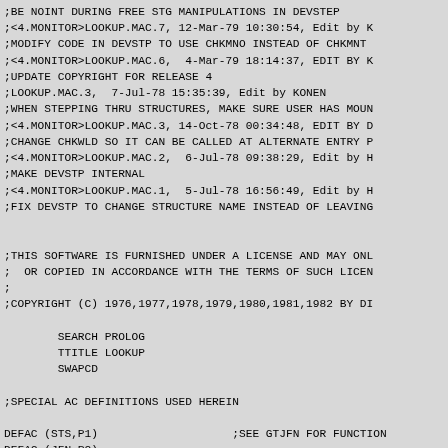;BE NOINT DURING FREE STG MANIPULATIONS IN DEVSTEP
;<4.MONITOR>LOOKUP.MAC.7, 12-Mar-79 10:30:54, Edit by K
;MODIFY CODE IN DEVSTP TO USE CHKMNO INSTEAD OF CHKMNT
;<4.MONITOR>LOOKUP.MAC.6,  4-Mar-79 18:14:37, EDIT BY K
;UPDATE COPYRIGHT FOR RELEASE 4
;<KONEN>LOOKUP.MAC.3,  7-Jul-78 15:35:39, Edit by KONEN
;WHEN STEPPING THRU STRUCTURES, MAKE SURE USER HAS MOUN
;<4.MONITOR>LOOKUP.MAC.3, 14-Oct-78 00:34:48, EDIT BY D
;CHANGE CHKWLD SO IT CAN BE CALLED AT ALTERNATE ENTRY P
;<4.MONITOR>LOOKUP.MAC.2,  6-Jul-78 09:38:29, Edit by H
;MAKE DEVSTP INTERNAL
;<4.MONITOR>LOOKUP.MAC.1,  5-Jul-78 16:56:49, Edit by H
;FIX DEVSTP TO CHANGE STRUCTURE NAME INSTEAD OF LEAVING
;THIS SOFTWARE IS FURNISHED UNDER A LICENSE AND MAY ONL
;  OR COPIED IN ACCORDANCE WITH THE TERMS OF SUCH LICEN
;
;COPYRIGHT (C) 1976,1977,1978,1979,1980,1981,1982 BY DI
SEARCH PROLOG
        TTITLE LOOKUP
        SWAPCD
;SPECIAL AC DEFINITIONS USED HEREIN
DEFAC (STS,P1)                    ;SEE GTJFN FOR FUNCTION
DEFAC (JFN,P2)
DEFAC (DEV,P4)
DEFAC (F1,P5)